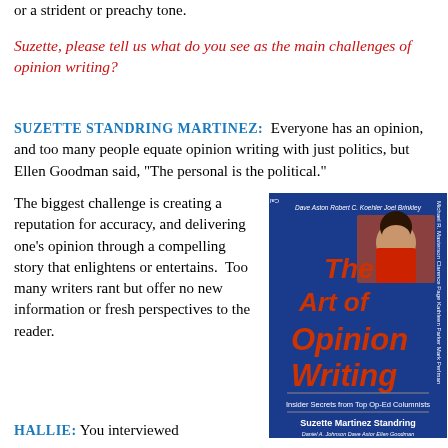or a strident or preachy tone.
Suzette, please tell us what do you see as the main challenges of opinion writing?
SUZETTE STANDRING MARTINEZ:  Everyone has an opinion, and too many people equate opinion writing with just politics, but Ellen Goodman said, “The personal is the political.”
The biggest challenge is creating a reputation for accuracy, and delivering one’s opinion through a compelling story that enlightens or entertains.  Too many writers rant but offer no new information or fresh perspectives to the reader.
[Figure (photo): Book cover of 'The Art of Opinion Writing: Insider Secrets from Top Op-Ed Columnists' by Suzette Martinez Standring, with blue background, red title text, photo of author, and author names listed on sides.]
HALLIE:  You interviewed